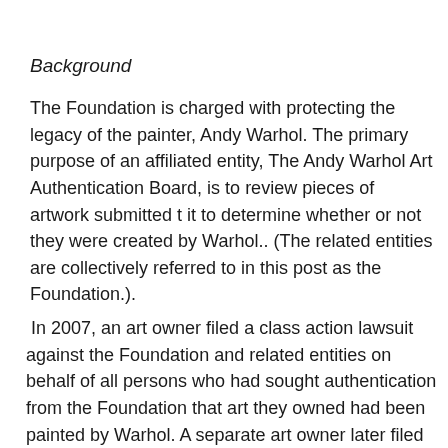Background
The Foundation is charged with protecting the legacy of the painter, Andy Warhol. The primary purpose of an affiliated entity, The Andy Warhol Art Authentication Board, is to review pieces of artwork submitted t it to determine whether or not they were created by Warhol.. (The related entities are collectively referred to in this post as the Foundation.).
In 2007, an art owner filed a class action lawsuit against the Foundation and related entities on behalf of all persons who had sought authentication from the Foundation that art they owned had been painted by Warhol. A separate art owner later filed an individual